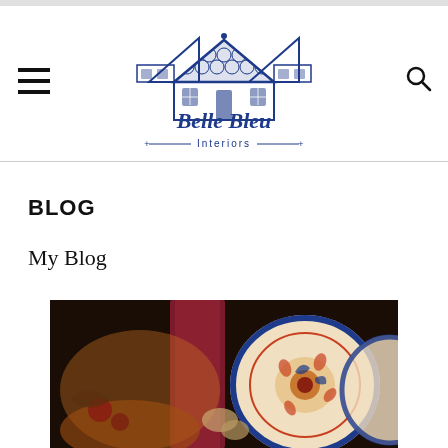[Figure (logo): Belle Bleu Interiors logo featuring a blue French-style house with decorative roof and script text]
BLOG
My Blog
[Figure (photo): Autumn/fall table decoration with a dark red candle, decorative plates with blue and rust floral pattern (Imari-style), autumn foliage and berries]